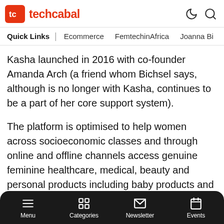techcabal
Quick Links | Ecommerce   FemtechinAfrica   Joanna Bi
Kasha launched in 2016 with co-founder Amanda Arch (a friend whom Bichsel says, although is no longer with Kasha, continues to be a part of her core support system).
The platform is optimised to help women across socioeconomic classes and through online and offline channels access genuine feminine healthcare, medical, beauty and personal products including baby products and culturally taboo products like contraceptives. But men shop on the
Menu   Categories   Newsletter   Events